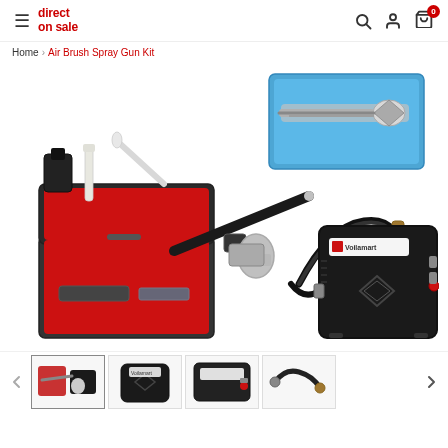direct on sale — navigation header with hamburger menu, search, account, and cart icons
Home > Air Brush Spray Gun Kit
[Figure (photo): Air Brush Spray Gun Kit product image showing: airbrush gun connected via flexible hose to a black Voilamart compressor unit, an open red-lined carrying case, accessories (wrench, dropper, nozzle cap), and a blue case with airbrush displayed in upper right.]
[Figure (photo): Thumbnail 1: small airbrush kit with case and accessories]
[Figure (photo): Thumbnail 2: black compressor unit from front/side angle]
[Figure (photo): Thumbnail 3: close-up of compressor front panel]
[Figure (photo): Thumbnail 4: airbrush hose and connector accessories]